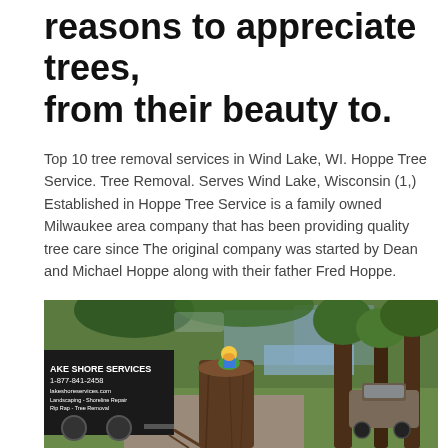reasons to appreciate trees, from their beauty to.
Top 10 tree removal services in Wind Lake, WI. Hoppe Tree Service. Tree Removal. Serves Wind Lake, Wisconsin (1,) Established in Hoppe Tree Service is a family owned Milwaukee area company that has been providing quality tree care since The original company was started by Dean and Michael Hoppe along with their father Fred Hoppe.
[Figure (photo): Outdoor photo showing a large tree stump with a colorful toy figure on top, a black trailer with 'LAKE SHORE SERVICES 1-877-841-2458 lakeshoreservices.com Landscaping - Shoreline Repair - Rip Rap - Tree Removal' text on the left, tall trees in the background, a lake visible in the distance, a car parked on the right, and green lawn.]